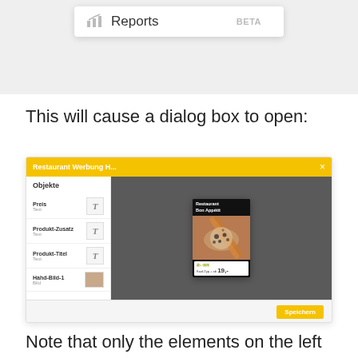[Figure (screenshot): Menu card showing 'Reports BETA' option with bar chart icon on a light gray background]
This will cause a dialog box to open:
[Figure (screenshot): Dialog box titled 'Restaurant Werbung H...' with a yellow title bar, left panel showing 'Objekte' list items (Preis, Produkt-Zusatz, Produkt-Titel, Hahd-Bild-1) and right dark panel showing a restaurant ad for 'Restaurant Bon Appétit' with sushi image and price 19,-. Save button at bottom right.]
Note that only the elements on the left are able to be selected. This is because they were previously declared